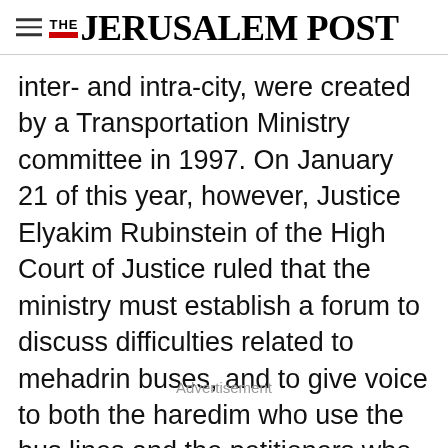THE JERUSALEM POST
inter- and intra-city, were created by a Transportation Ministry committee in 1997. On January 21 of this year, however, Justice Elyakim Rubinstein of the High Court of Justice ruled that the ministry must establish a forum to discuss difficulties related to mehadrin buses, and to give voice to both the haredim who use the bus lines and the petitioners who oppose them. In his ruling, Rubinstein noted that the mehadrin bus
Advertisement